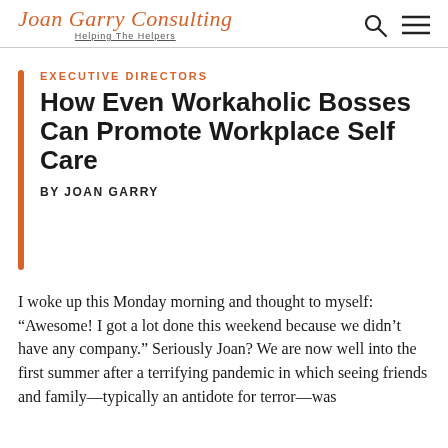Joan Garry Consulting – Helping The Helpers
EXECUTIVE DIRECTORS
How Even Workaholic Bosses Can Promote Workplace Self Care
BY JOAN GARRY
I woke up this Monday morning and thought to myself: “Awesome! I got a lot done this weekend because we didn’t have any company.” Seriously Joan? We are now well into the first summer after a terrifying pandemic in which seeing friends and family—typically an antidote for terror—was